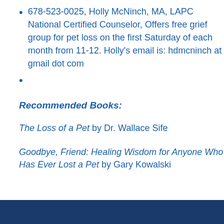678-523-0025, Holly McNinch, MA, LAPC National Certified Counselor, Offers free grief group for pet loss on the first Saturday of each month from 11-12. Holly's email is: hdmcninch at gmail dot com
Recommended Books:
The Loss of a Pet by Dr. Wallace Sife
Goodbye, Friend: Healing Wisdom for Anyone Who Has Ever Lost a Pet by Gary Kowalski